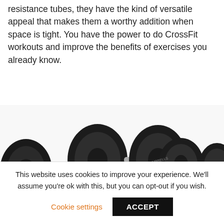resistance tubes, they have the kind of versatile appeal that makes them a worthy addition when space is tight. You have the power to do CrossFit workouts and improve the benefits of exercises you already know.
[Figure (photo): Multiple black rubber dumbbells of various sizes arranged together, showing round weight plates and chrome handles with brand markings.]
This website uses cookies to improve your experience. We'll assume you're ok with this, but you can opt-out if you wish.
Cookie settings   ACCEPT